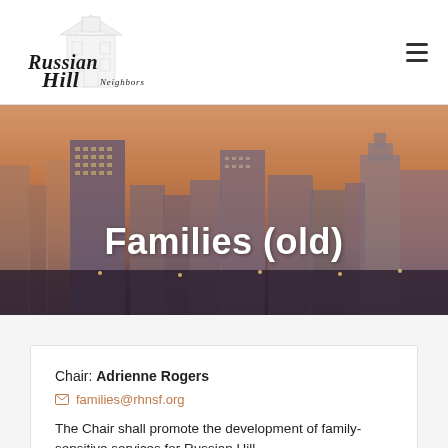[Figure (logo): Russian Hill Neighbors logo with house illustration and script text]
[Figure (photo): San Francisco cityscape at dusk/twilight with tall buildings against an orange-pink sky]
Families (old)
Chair: Adrienne Rogers
families@rhnsf.org
The Chair shall promote the development of family-sensitive services for Russian Hill